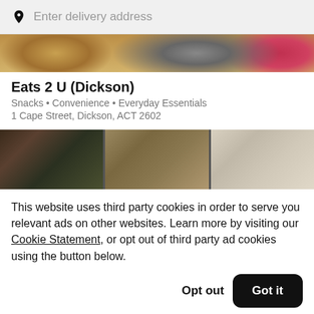Enter delivery address
[Figure (photo): Partial food strip image at top of page showing snack foods]
Eats 2 U (Dickson)
Snacks • Convenience • Everyday Essentials
1 Cape Street, Dickson, ACT 2602
[Figure (photo): Food photos showing meal containers with rice and various dishes]
This website uses third party cookies in order to serve you relevant ads on other websites. Learn more by visiting our Cookie Statement, or opt out of third party ad cookies using the button below.